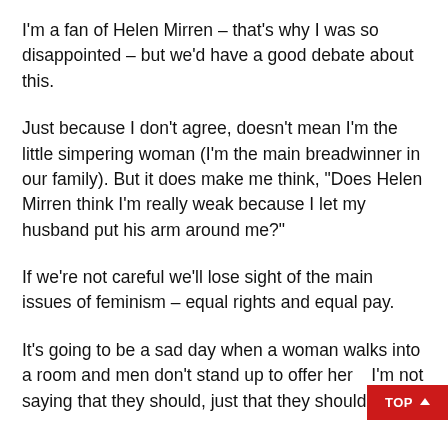I'm a fan of Helen Mirren – that's why I was so disappointed – but we'd have a good debate about this.
Just because I don't agree, doesn't mean I'm the little simpering woman (I'm the main breadwinner in our family). But it does make me think, "Does Helen Mirren think I'm really weak because I let my husband put his arm around me?"
If we're not careful we'll lose sight of the main issues of feminism – equal rights and equal pay.
It's going to be a sad day when a woman walks into a room and men don't stand up to offer her... I'm not saying that they should, just that they should